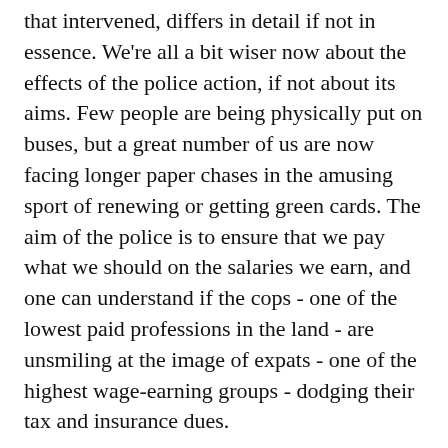The truth, distilled in slow drops over the months that intervened, differs in detail if not in essence. We're all a bit wiser now about the effects of the police action, if not about its aims. Few people are being physically put on buses, but a great number of us are now facing longer paper chases in the amusing sport of renewing or getting green cards. The aim of the police is to ensure that we pay what we should on the salaries we earn, and one can understand if the cops - one of the lowest paid professions in the land - are unsmiling at the image of expats - one of the highest wage-earning groups - dodging their tax and insurance dues.
A⁻ | A⁺   COMMENTS DISABLED
It's with trepidation that we revisit an editorial written about this magazine in January 2003, a machine